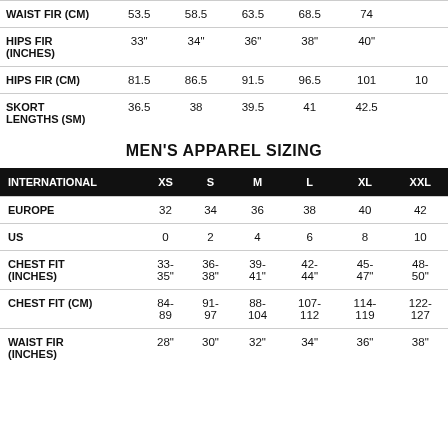|  | XS | S | M | L | XL | XXL |
| --- | --- | --- | --- | --- | --- | --- |
| WAIST FIR (CM) | 53.5 | 58.5 | 63.5 | 68.5 | 74 |  |
| HIPS FIR (INCHES) | 33" | 34" | 36" | 38" | 40" |  |
| HIPS FIR (CM) | 81.5 | 86.5 | 91.5 | 96.5 | 101 | 10 |
| SKORT LENGTHS (SM) | 36.5 | 38 | 39.5 | 41 | 42.5 |  |
MEN'S APPAREL SIZING
| INTERNATIONAL | XS | S | M | L | XL | XXL |
| --- | --- | --- | --- | --- | --- | --- |
| EUROPE | 32 | 34 | 36 | 38 | 40 | 42 |
| US | 0 | 2 | 4 | 6 | 8 | 10 |
| CHEST FIT (INCHES) | 33-35" | 36-38" | 39-41" | 42-44" | 45-47" | 48-50" |
| CHEST FIT (CM) | 84-89 | 91-97 | 88-104 | 107-112 | 114-119 | 122-127 |
| WAIST FIR (INCHES) | 28" | 30" | 32" | 34" | 36" | 38" |